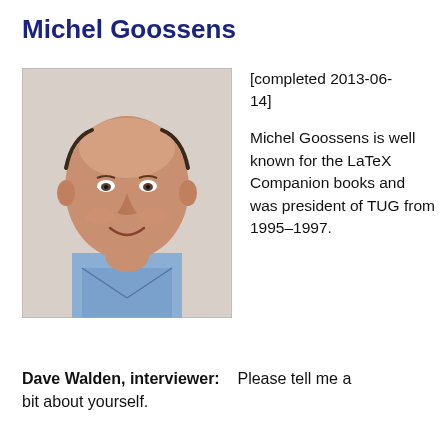Michel Goossens
[Figure (photo): Portrait photograph of Michel Goossens, a bald smiling older man wearing a blue plaid shirt, photographed from shoulders up against a white background.]
[completed 2013-06-14]

Michel Goossens is well known for the LaTeX Companion books and was president of TUG from 1995–1997.
Dave Walden, interviewer:    Please tell me a bit about yourself.